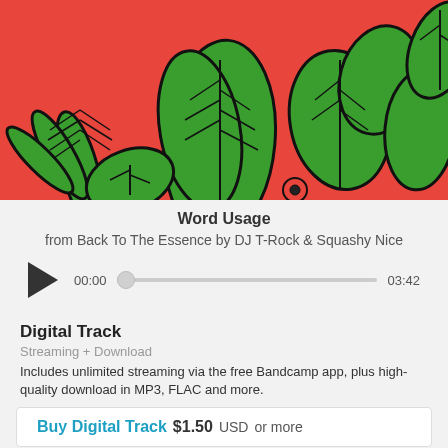[Figure (illustration): Album artwork showing stylized green tropical leaves and plants with thick black outlines on a red/coral background]
Word Usage
from Back To The Essence by DJ T-Rock & Squashy Nice
[Figure (other): Audio player with play button, time 00:00, progress bar with knob, and end time 03:42]
Digital Track
Streaming + Download
Includes unlimited streaming via the free Bandcamp app, plus high-quality download in MP3, FLAC and more.
Buy Digital Track $1.50 USD or more